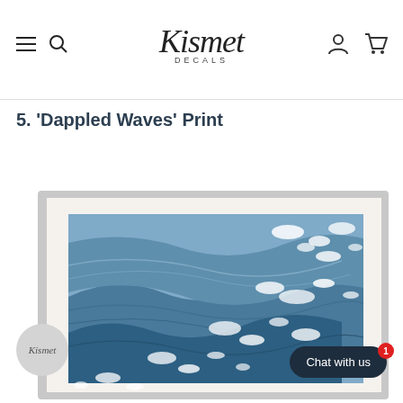Kismet Decals — navigation header with menu, search, logo, account, cart icons
5. 'Dappled Waves' Print
[Figure (screenshot): Framed art print showing abstract blue waves with white dappled highlights, displayed in a light silver frame with white mat. A Kismet branded circular logo watermark is overlaid bottom-left. A 'Chat with us' button with badge '1' is overlaid bottom-right.]